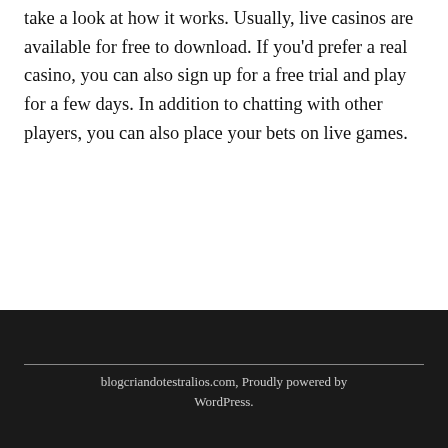take a look at how it works. Usually, live casinos are available for free to download. If you'd prefer a real casino, you can also sign up for a free trial and play for a few days. In addition to chatting with other players, you can also place your bets on live games.
blogcriandotestralios.com, Proudly powered by WordPress.